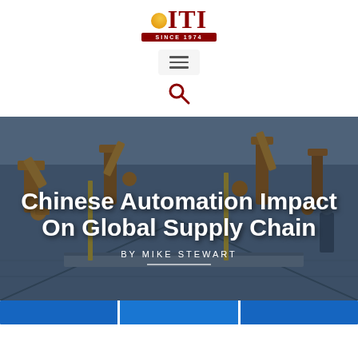[Figure (logo): ITI magazine logo with gold circle, red letters ITI, and red banner reading SINCE 1974]
[Figure (infographic): Hamburger menu button icon (three horizontal lines) in a light gray rounded box]
[Figure (infographic): Red search/magnifying glass icon]
[Figure (photo): Photo of robotic arms on an automotive factory floor, tinted dark blue, serving as hero banner background]
Chinese Automation Impact On Global Supply Chain
BY MIKE STEWART